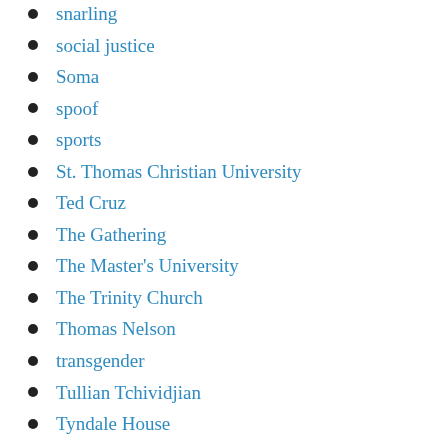snarling
social justice
Soma
spoof
sports
St. Thomas Christian University
Ted Cruz
The Gathering
The Master's University
The Trinity Church
Thomas Nelson
transgender
Tullian Tchividjian
Tyndale House
uganda
Ukraine
Uncategorized